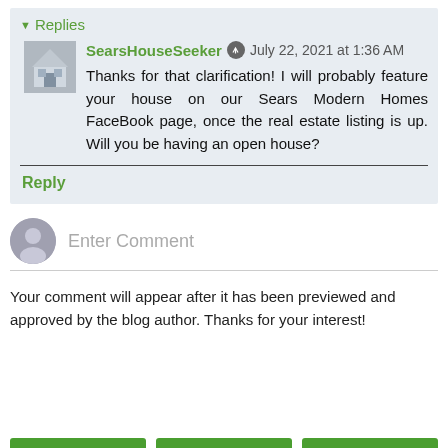Replies
SearsHouseSeeker  July 22, 2021 at 1:36 AM
Thanks for that clarification! I will probably feature your house on our Sears Modern Homes FaceBook page, once the real estate listing is up. Will you be having an open house?
Reply
Enter Comment
Your comment will appear after it has been previewed and approved by the blog author. Thanks for your interest!